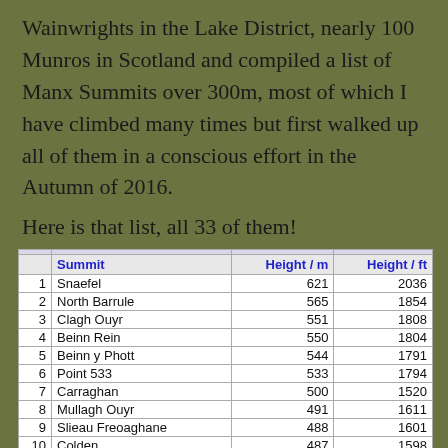Wainwrights in the Lake District, nearly 100 Munros in Scotland and compiled a list of Manx Summits over 300m, most of which I have climbed many times but first walked up all of them in a conscious effort in the Autumn of 2016.
Here is that list, all 33 of them!
|  | Summit | Height / m | Height / ft |
| --- | --- | --- | --- |
| 1 | Snaefel | 621 | 2036 |
| 2 | North Barrule | 565 | 1854 |
| 3 | Clagh Ouyr | 551 | 1808 |
| 4 | Beinn Rein | 550 | 1804 |
| 5 | Beinn y Phott | 544 | 1791 |
| 6 | Point 533 | 533 | 1794 |
| 7 | Carraghan | 500 | 1520 |
| 8 | Mullagh Ouyr | 491 | 1611 |
| 9 | Slieau Freoaghane | 488 | 1601 |
| 10 | Colden | 487 | 1598 |
| 11 | South Barrule | 483 | 1585 |
| 12 | Slieau Ruy (Greeba) | 479 | 1571 |
| 13 | Slieau Lhean | 469 | 1539 |
| 14 | Sartfell | 454 | 1490 |
| 15 | Slieau Ouyr | 452 | 1483 |